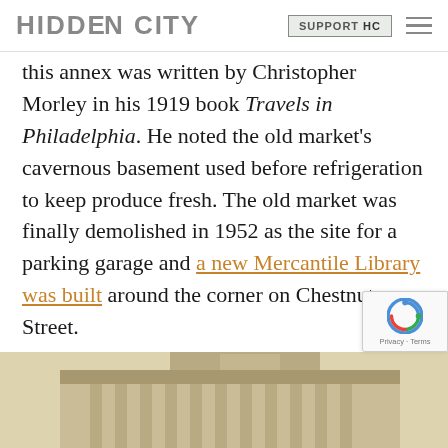HIDDEN CITY | SUPPORT HC
this annex was written by Christopher Morley in his 1919 book Travels in Philadelphia. He noted the old market's cavernous basement used before refrigeration to keep produce fresh. The old market was finally demolished in 1952 as the site for a parking garage and a new Mercantile Library was built around the corner on Chestnut Street.
[Figure (photo): Partial view of a historical building facade, sepia-toned, showing architectural details of an old structure.]